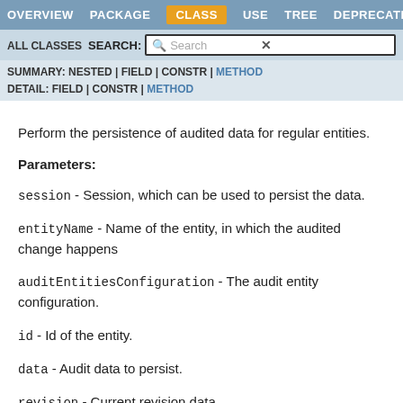OVERVIEW  PACKAGE  CLASS  USE  TREE  DEPRECATED
ALL CLASSES   SEARCH:  Search
SUMMARY: NESTED | FIELD | CONSTR | METHOD
DETAIL: FIELD | CONSTR | METHOD
Perform the persistence of audited data for regular entities.
Parameters:
session - Session, which can be used to persist the data.
entityName - Name of the entity, in which the audited change happens
auditEntitiesConfiguration - The audit entity configuration.
id - Id of the entity.
data - Audit data to persist.
revision - Current revision data.